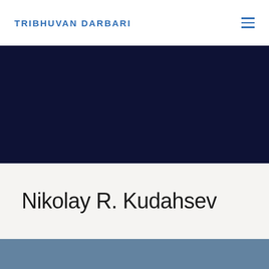TRIBHUVAN DARBARI
[Figure (other): Dark navy blue rectangular band spanning full width]
Nikolay R. Kudahsev
[Figure (other): Steel blue rectangular band spanning full width at the bottom]